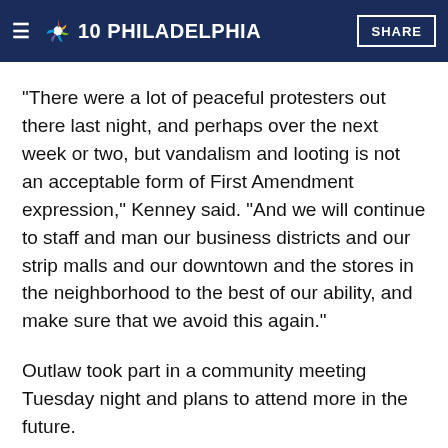NBC10 PHILADELPHIA | SHARE
“There were a lot of peaceful protesters out there last night, and perhaps over the next week or two, but vandalism and looting is not an acceptable form of First Amendment expression,” Kenney said. “And we will continue to staff and man our business districts and our strip malls and our downtown and the stores in the neighborhood to the best of our ability, and make sure that we avoid this again.”
Outlaw took part in a community meeting Tuesday night and plans to attend more in the future.
Mayor Jim Kenney has met with Wallace’s family and offered his condolences. He also plans to discuss the shooting with the city Pathways to Reform, Transformation and